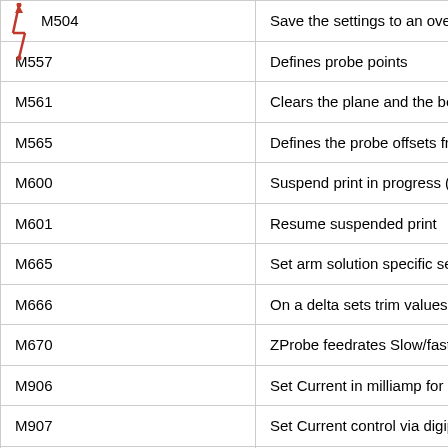| Code | Description |
| --- | --- |
| M504 | Save the settings to an override fi |
| M557 | Defines probe points |
| M561 | Clears the plane and the bed leve |
| M565 | Defines the probe offsets from the |
| M600 | Suspend print in progress (use M |
| M601 | Resume suspended print |
| M665 | Set arm solution specific settings: |
| M666 | On a delta sets trim values for the |
| M670 | ZProbe feedrates Slow/fast(K)/Re |
| M906 | Set Current in milliamp for SPI dri |
| M907 | Set Current control via digipot for |
| M909 | Set microsteps (1/n), ONLY for ac |
| M910.x | Setup advanced driver chips that |
| M957 | (with Spindle module enabled) Re |
| M958 | (with Spindle module enabled) Re |